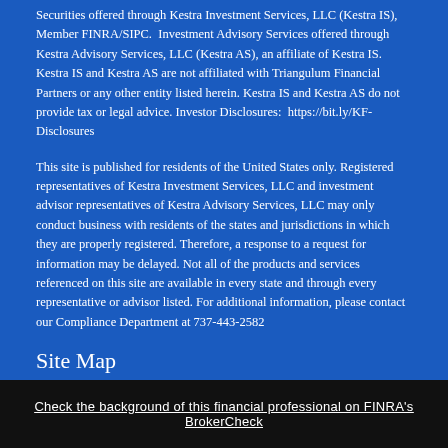Securities offered through Kestra Investment Services, LLC (Kestra IS), Member FINRA/SIPC.  Investment Advisory Services offered through Kestra Advisory Services, LLC (Kestra AS), an affiliate of Kestra IS.  Kestra IS and Kestra AS are not affiliated with Triangulum Financial Partners or any other entity listed herein. Kestra IS and Kestra AS do not provide tax or legal advice. Investor Disclosures:  https://bit.ly/KF-Disclosures
This site is published for residents of the United States only. Registered representatives of Kestra Investment Services, LLC and investment advisor representatives of Kestra Advisory Services, LLC may only conduct business with residents of the states and jurisdictions in which they are properly registered. Therefore, a response to a request for information may be delayed. Not all of the products and services referenced on this site are available in every state and through every representative or advisor listed. For additional information, please contact our Compliance Department at 737-443-2582
Site Map
Check the background of this financial professional on FINRA's BrokerCheck